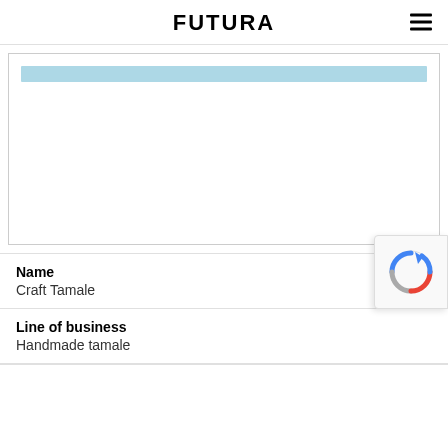FUTURA
[Figure (other): Map or content placeholder area with a light blue bar at the top, otherwise blank white space]
Name
Craft Tamale
Line of business
Handmade tamale